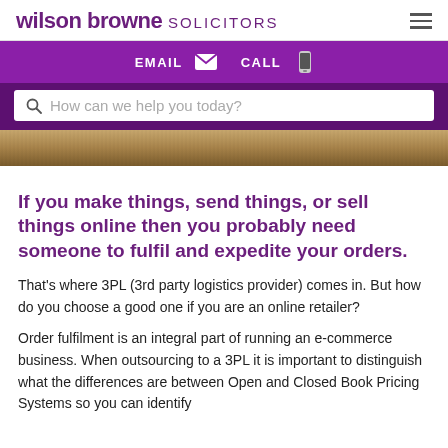wilson browne SOLICITORS
EMAIL  CALL
How can we help you today?
[Figure (photo): Close-up photo of a wooden plank or board surface on a gravel/stone background]
If you make things, send things, or sell things online then you probably need someone to fulfil and expedite your orders.
That’s where 3PL (3rd party logistics provider) comes in. But how do you choose a good one if you are an online retailer?
Order fulfilment is an integral part of running an e-commerce business. When outsourcing to a 3PL it is important to distinguish what the differences are between Open and Closed Book Pricing Systems so you can identify